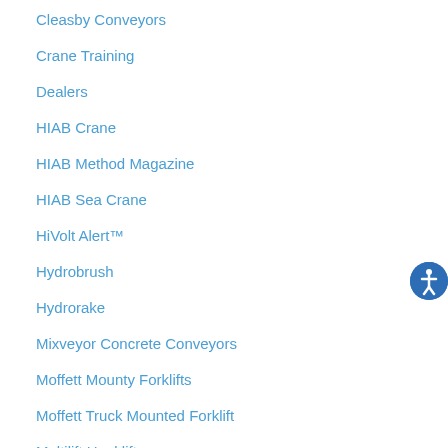Cleasby Conveyors
Crane Training
Dealers
HIAB Crane
HIAB Method Magazine
HIAB Sea Crane
HiVolt Alert™
Hydrobrush
Hydrorake
Mixveyor Concrete Conveyors
Moffett Mounty Forklifts
Moffett Truck Mounted Forklift
Multilift Hooklift
Polar Remote Control
Stop Log Lifter